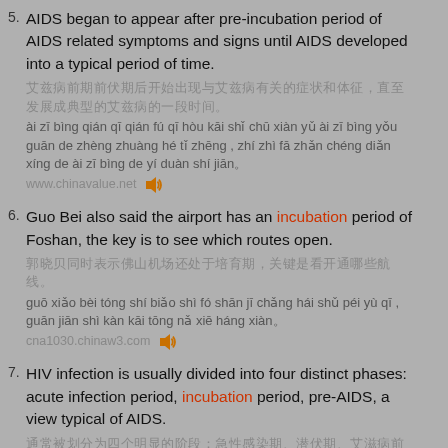5. AIDS began to appear after pre-incubation period of AIDS related symptoms and signs until AIDS developed into a typical period of time.
6. Guo Bei also said the airport has an incubation period of Foshan, the key is to see which routes open.
7. HIV infection is usually divided into four distinct phases: acute infection period, incubation period, pre-AIDS, a view typical of AIDS.